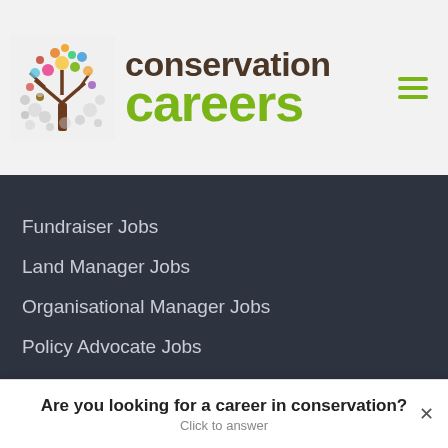[Figure (logo): Conservation Careers logo with colorful tree illustration and brand name]
Educator Jobs
Fundraiser Jobs
Land Manager Jobs
Organisational Manager Jobs
Policy Advocate Jobs
Project Manager Jobs
Scientist Jobs
Conservation Jobs by Theme
Are you looking for a career in conservation?
Click to answer